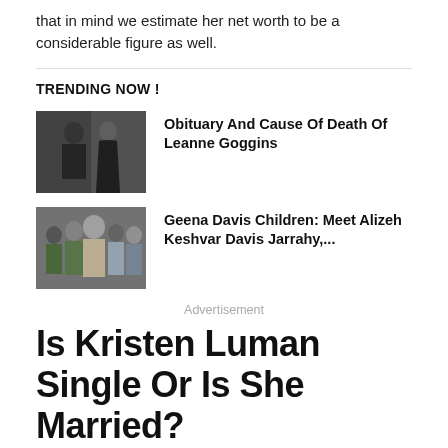that in mind we estimate her net worth to be a considerable figure as well.
TRENDING NOW !
[Figure (photo): A man in a dark suit and a woman in a black dress posing together at an event.]
Obituary And Cause Of Death Of Leanne Goggins
[Figure (photo): A group of people posing together at an event, including a tall woman in a light top.]
Geena Davis Children: Meet Alizeh Keshvar Davis Jarrahy,...
Advertisement
Is Kristen Luman Single Or Is She Married?
Moving straight towards her personal life, Luman never talks about her relationships to spread for all on the...